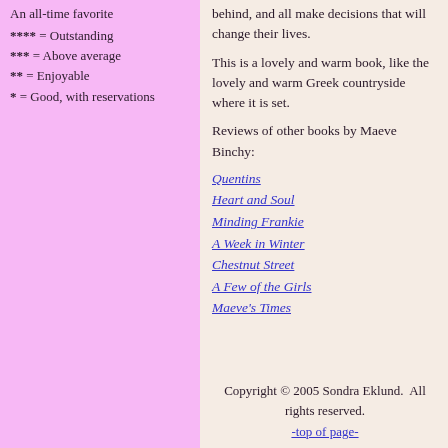**** = Outstanding
*** = Above average
** = Enjoyable
* = Good, with reservations
behind, and all make decisions that will change their lives.
This is a lovely and warm book, like the lovely and warm Greek countryside where it is set.
Reviews of other books by Maeve Binchy:
Quentins
Heart and Soul
Minding Frankie
A Week in Winter
Chestnut Street
A Few of the Girls
Maeve's Times
Copyright © 2005 Sondra Eklund.  All rights reserved.
-top of page-